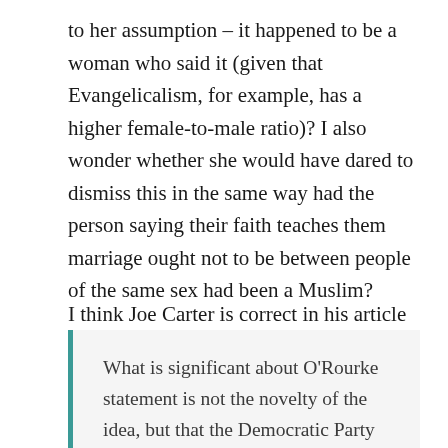to her assumption – it happened to be a woman who said it (given that Evangelicalism, for example, has a higher female-to-male ratio)? I also wonder whether she would have dared to dismiss this in the same way had the person saying their faith teaches them marriage ought not to be between people of the same sex had been a Muslim?
I think Joe Carter is correct in his article when he states:
What is significant about O'Rourke statement is not the novelty of the idea, but that the Democratic Party